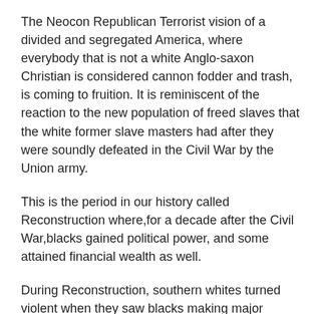The Neocon Republican Terrorist vision of a divided and segregated America, where everybody that is not a white Anglo-saxon Christian is considered cannon fodder and trash, is coming to fruition. It is reminiscent of the reaction to the new population of freed slaves that the white former slave masters had after they were soundly defeated in the Civil War by the Union army.
This is the period in our history called Reconstruction where,for a decade after the Civil War,blacks gained political power, and some attained financial wealth as well.
During Reconstruction, southern whites turned violent when they saw blacks making major gains.
Reconstruction was followed in the South by domination by the Democratic Party and the enactment of Jim Crow